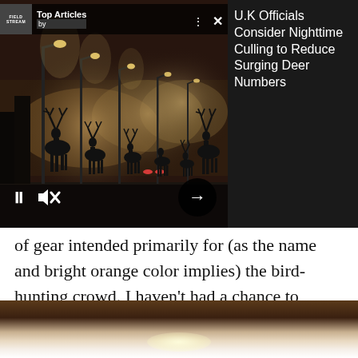[Figure (screenshot): Top Articles widget overlay showing a nighttime photo of deer silhouettes on a foggy street with lampposts, video playback controls (pause, mute, forward arrow), and article headline on the right side reading 'U.K Officials Consider Nighttime Culling to Reduce Surging Deer Numbers']
of gear intended primarily for (as the name and bright orange color implies) the bird-hunting crowd. I haven't had a chance to actually use the 1875 in the field yet, because my receiving it last week just happened to coincide with the hottest and most miserable stretch of weather to hit so far this summer, so I haven't even been running the dogs in the early morning.
[Figure (photo): Bottom edge of a photo with brown/tan gradient tones, likely a hunting or outdoor scene, with a light glare spot visible]